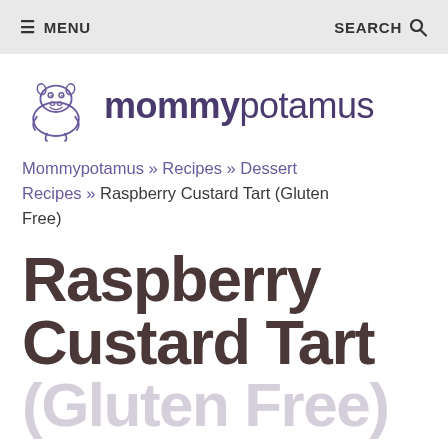≡ MENU   SEARCH 🔍
[Figure (logo): Mommypotamus hippo logo with text 'mommypotamus']
Mommypotamus » Recipes » Dessert Recipes » Raspberry Custard Tart (Gluten Free)
Raspberry Custard Tart (Gluten Free)